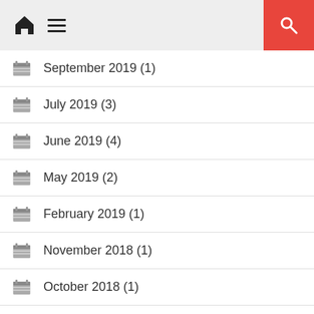Home menu search
September 2019 (1)
July 2019 (3)
June 2019 (4)
May 2019 (2)
February 2019 (1)
November 2018 (1)
October 2018 (1)
September 2018 (3)
June 2018 (3)
May 2018 (2)